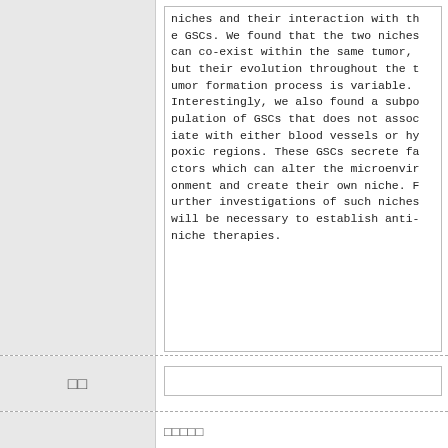niches and their interaction with the GSCs. We found that the two niches can co-exist within the same tumor, but their evolution throughout the tumor formation process is variable. Interestingly, we also found a subpopulation of GSCs that does not associate with either blood vessels or hypoxic regions. These GSCs secrete factors which can alter the microenvironment and create their own niche. Further investigations of such niches will be necessary to establish anti-niche therapies.
□□
□□□□□